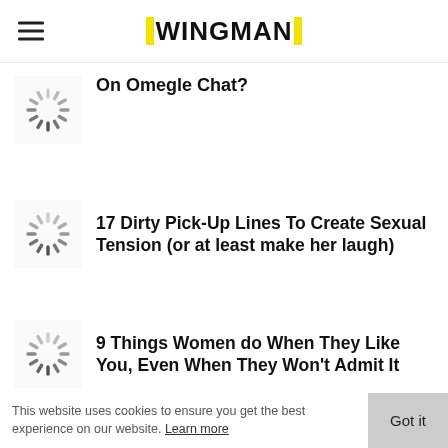WINGMAN
On Omegle Chat?
[Figure (other): Loading spinner icon (circular dashes)]
17 Dirty Pick-Up Lines To Create Sexual Tension (or at least make her laugh)
[Figure (other): Loading spinner icon (circular dashes)]
9 Things Women do When They Like You, Even When They Won't Admit It
[Figure (other): Loading spinner icon (circular dashes)]
This website uses cookies to ensure you get the best experience on our website. Learn more Got it